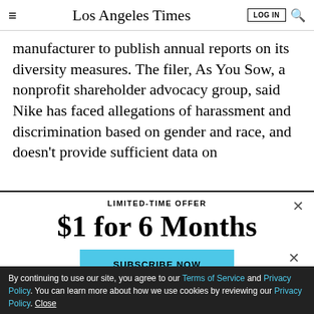Los Angeles Times
manufacturer to publish annual reports on its diversity measures. The filer, As You Sow, a nonprofit shareholder advocacy group, said Nike has faced allegations of harassment and discrimination based on gender and race, and doesn't provide sufficient data on
LIMITED-TIME OFFER
$1 for 6 Months
SUBSCRIBE NOW
By continuing to use our site, you agree to our Terms of Service and Privacy Policy. You can learn more about how we use cookies by reviewing our Privacy Policy. Close